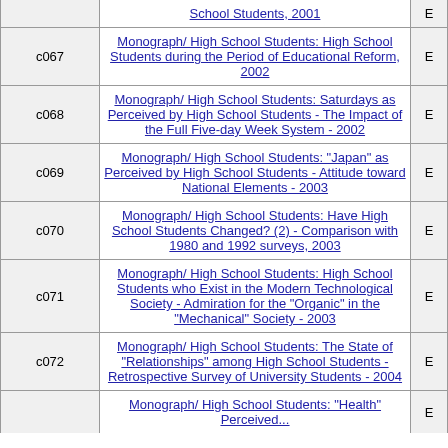| Code | Title |  |
| --- | --- | --- |
|  | School Students, 2001 | E |
| c067 | Monograph/ High School Students: High School Students during the Period of Educational Reform, 2002 | E |
| c068 | Monograph/ High School Students: Saturdays as Perceived by High School Students - The Impact of the Full Five-day Week System - 2002 | E |
| c069 | Monograph/ High School Students: "Japan" as Perceived by High School Students - Attitude toward National Elements - 2003 | E |
| c070 | Monograph/ High School Students: Have High School Students Changed? (2) - Comparison with 1980 and 1992 surveys, 2003 | E |
| c071 | Monograph/ High School Students: High School Students who Exist in the Modern Technological Society - Admiration for the "Organic" in the "Mechanical" Society - 2003 | E |
| c072 | Monograph/ High School Students: The State of "Relationships" among High School Students - Retrospective Survey of University Students - 2004 | E |
|  | Monograph/ High School Students: "Health" Perceived... | E |